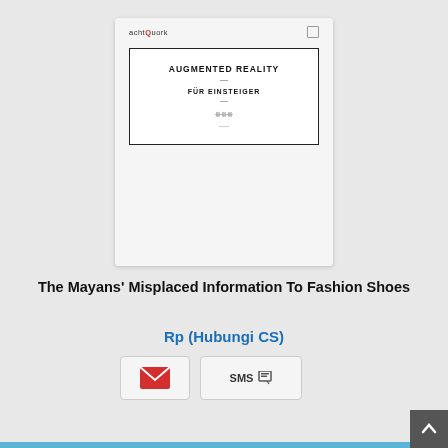[Figure (screenshot): Screenshot of a book cover showing 'AUGMENTED REALITY — FÜR EINSTEIGER' with achtQuork branding]
The Mayans’ Misplaced Information To Fashion Shoes
Rp (Hubungi CS)
[Figure (infographic): Email button, SMS button, WhatsApp chat button and scroll-to-top button]